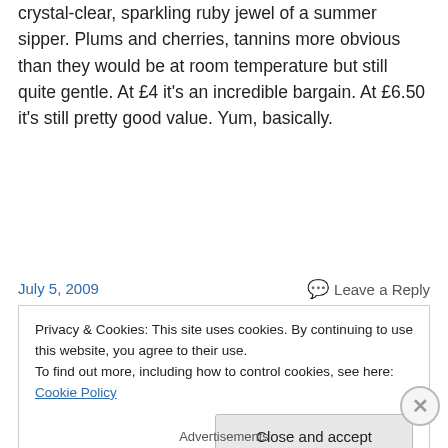crystal-clear, sparkling ruby jewel of a summer sipper. Plums and cherries, tannins more obvious than they would be at room temperature but still quite gentle. At £4 it's an incredible bargain. At £6.50 it's still pretty good value. Yum, basically.
July 5, 2009
Leave a Reply
Privacy & Cookies: This site uses cookies. By continuing to use this website, you agree to their use.
To find out more, including how to control cookies, see here: Cookie Policy
Close and accept
Advertisements